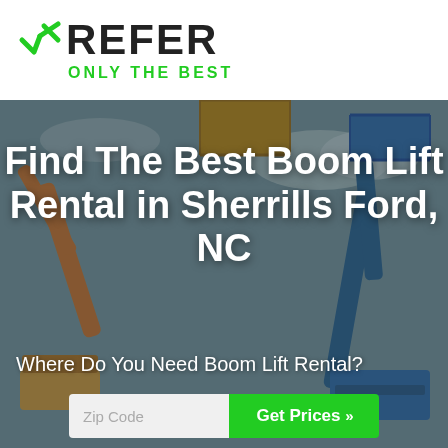[Figure (logo): XRefer logo with green checkmark and X, black REFER text, green ONLY THE BEST tagline below]
[Figure (photo): Background photo of multiple boom lift cranes against a sky, with a dark overlay. Includes an orange/yellow articulating boom lift, a blue telescoping boom lift, and a yellow scissor lift.]
Find The Best Boom Lift Rental in Sherrills Ford, NC
Where Do You Need Boom Lift Rental?
Zip Code
Get Prices »